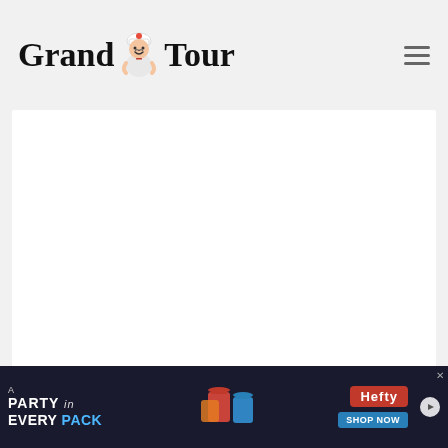Grand Tour
[Figure (other): White blank content card area]
No.18 Kjolle
[Figure (photo): Close-up food/dish photo showing colorful food items on a light background]
[Figure (other): Advertisement banner: A PARTY in EVERY PACK - Hefty Party Cup - SHOP NOW]